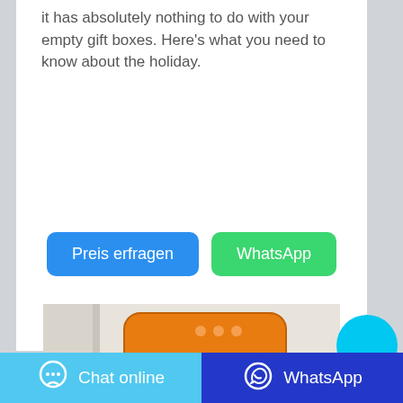it has absolutely nothing to do with your empty gift boxes. Here's what you need to know about the holiday.
[Figure (other): Blue button labeled 'Preis erfragen' and green button labeled 'WhatsApp']
[Figure (photo): Photo of an orange product pouch/package against a white curtain background]
[Figure (other): Cyan circular floating chat button]
Chat online   WhatsApp